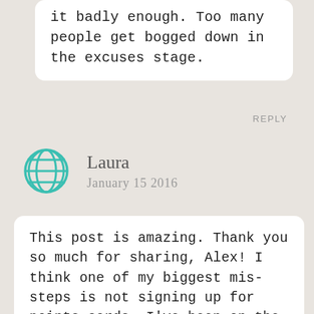it badly enough. Too many people get bogged down in the excuses stage.
REPLY
Laura
January 15 2016
This post is amazing. Thank you so much for sharing, Alex! I think one of my biggest mis-steps is not signing up for points cards. I've been on the road now for several years and I imagine it would have saved me a whola looootta money by now. Doh.
REPLY